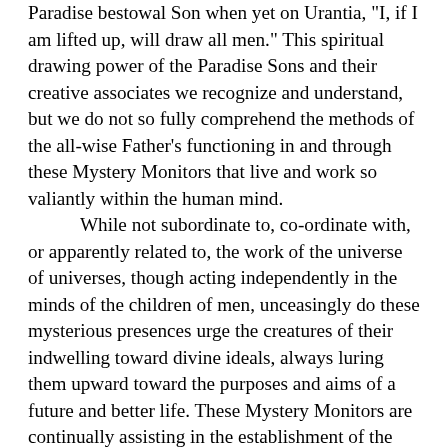Paradise bestowal Son when yet on Urantia, "I, if I am lifted up, will draw all men." This spiritual drawing power of the Paradise Sons and their creative associates we recognize and understand, but we do not so fully comprehend the methods of the all-wise Father's functioning in and through these Mystery Monitors that live and work so valiantly within the human mind.

While not subordinate to, co-ordinate with, or apparently related to, the work of the universe of universes, though acting independently in the minds of the children of men, unceasingly do these mysterious presences urge the creatures of their indwelling toward divine ideals, always luring them upward toward the purposes and aims of a future and better life. These Mystery Monitors are continually assisting in the establishment of the spiritual dominion of Michael throughout the universe of Nebadon while mysteriously contributing to the stabilization of the sovereignty of the Ancients of Days in Orvonton. The Adjusters are the will of God, and since the Supreme Creator children of God also personally embody that same will, it is inevitable that the actions of Adjusters and the sovereignty of the universe rulers should be mutually interdependent. Though apparently unconnected, the Father presence of the Adjusters and the Father